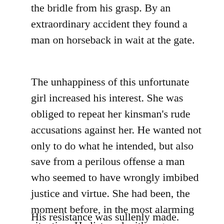the bridle from his grasp. By an extraordinary accident they found a man on horseback in wait at the gate.
The unhappiness of this unfortunate girl increased his interest. She was obliged to repeat her kinsman's rude accusations against her. He wanted not only to do what he intended, but also save from a perilous offense a man who seemed to have wrongly imbibed justice and virtue. She had been, the moment before, in the most alarming situation. He listened with eagerness and surprise.
His resistance was sullenly made.